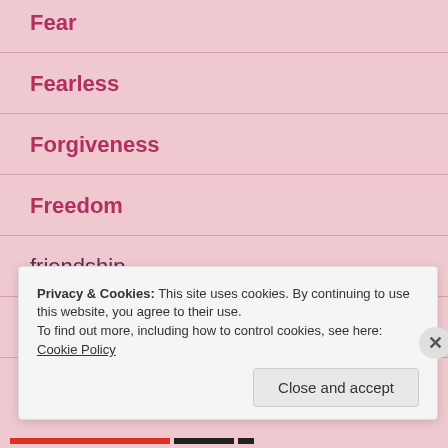Fear
Fearless
Forgiveness
Freedom
friendship
Gentleness
Privacy & Cookies: This site uses cookies. By continuing to use this website, you agree to their use.
To find out more, including how to control cookies, see here: Cookie Policy
Close and accept